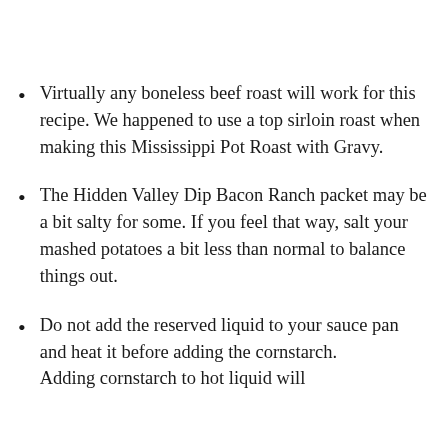Virtually any boneless beef roast will work for this recipe. We happened to use a top sirloin roast when making this Mississippi Pot Roast with Gravy.
The Hidden Valley Dip Bacon Ranch packet may be a bit salty for some. If you feel that way, salt your mashed potatoes a bit less than normal to balance things out.
Do not add the reserved liquid to your sauce pan and heat it before adding the cornstarch. Adding cornstarch to hot liquid will…